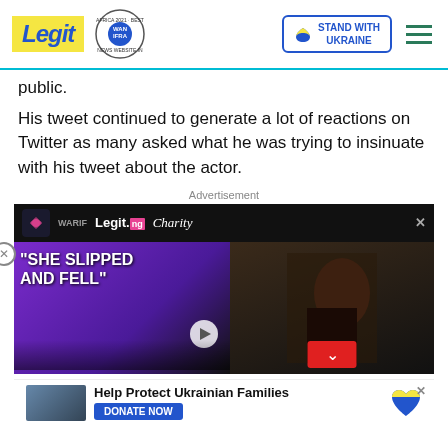Legit | WAN IFRA 2021 Best News Website in Africa | Stand With Ukraine
public.
His tweet continued to generate a lot of reactions on Twitter as many asked what he was trying to insinuate with his tweet about the actor.
Advertisement
[Figure (photo): Legit.ng Charity ad banner with WARIF logo and a photo of a woman in distress, alongside a video player showing two people with text 'SHE SLIPPED AND FELL']
[Figure (photo): Help Protect Ukrainian Families banner with DONATE NOW button, Ukraine heart flag icon, and a photo of people in winter clothing]